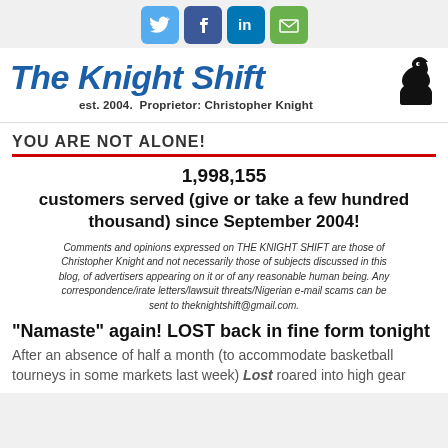[Figure (other): Social media icons: Twitter (blue bird), Facebook (f), LinkedIn (in), Email (envelope)]
The Knight Shift
est. 2004.  Proprietor: Christopher Knight
YOU ARE NOT ALONE!
1,998,155 customers served (give or take a few hundred thousand) since September 2004!
Comments and opinions expressed on THE KNIGHT SHIFT are those of Christopher Knight and not necessarily those of subjects discussed in this blog, of advertisers appearing on it or of any reasonable human being. Any correspondence/irate letters/lawsuit threats/Nigerian e-mail scams can be sent to theknightshift@gmail.com.
"Namaste" again! LOST back in fine form tonight
After an absence of half a month (to accommodate basketball tourneys in some markets last week) Lost roared into high gear